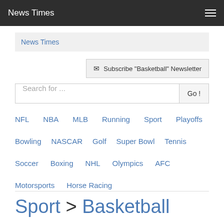News Times
News Times
Subscribe "Basketball" Newsletter
Search for ...
NFL
NBA
MLB
Running
Sport
Playoffs
Bowling
NASCAR
Golf
Super Bowl
Tennis
Soccer
Boxing
NHL
Olympics
AFC
Motorsports
Horse Racing
Sport > Basketball